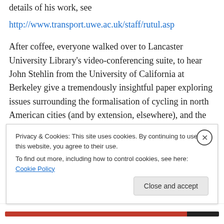details of his work, see
http://www.transport.uwe.ac.uk/staff/rutul.asp
After coffee, everyone walked over to Lancaster University Library's video-conferencing suite, to hear John Stehlin from the University of California at Berkeley give a tremendously insightful paper exploring issues surrounding the formalisation of cycling in north American cities (and by extension, elsewhere), and the consequences of such formalising processes for inclusion and exclusion, including for who counts and doesn't count as 'a cyclist'. This was I think one of the recurrent themes
Privacy & Cookies: This site uses cookies. By continuing to use this website, you agree to their use.
To find out more, including how to control cookies, see here: Cookie Policy